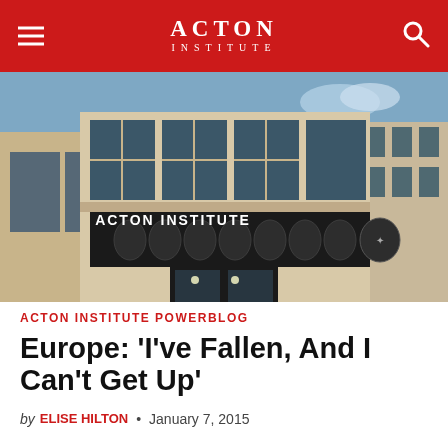ACTON INSTITUTE
[Figure (photo): Exterior photograph of the Acton Institute building showing its facade with the name 'Acton Institute' displayed prominently on a decorative dark awning/canopy, large windows, and brick architecture under a blue sky.]
ACTON INSTITUTE POWERBLOG
Europe: ‘I’ve Fallen, And I Can’t Get Up’
by ELISE HILTON • January 7, 2015